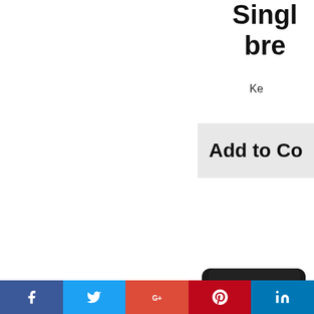Single serve brewer
Ke
Add to Co
[Figure (photo): Keurig single serve coffee maker dispensing coffee into a white mug, black machine with KEURIG logo]
Keuri Househ
[Figure (infographic): Social media share buttons: Facebook, Twitter, Google+, Pinterest, LinkedIn]